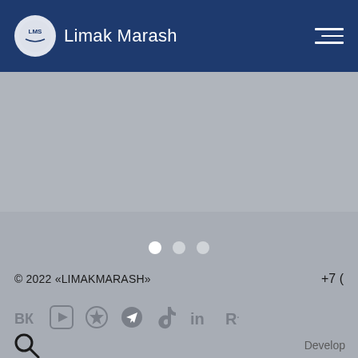[Figure (logo): Limak Marash logo with LMS circular emblem and white text on dark blue header bar]
[Figure (screenshot): Gray content area (main body placeholder)]
[Figure (screenshot): Carousel pagination dots: three dots, first filled white, second and third lighter]
© 2022 «LIMAKMARASH»
+7 (
[Figure (infographic): Row of social media icons: VK, YouTube, globe/star, Telegram, TikTok, LinkedIn, RuStore]
[Figure (infographic): Search (magnifying glass) icon on left, Develop text on right]